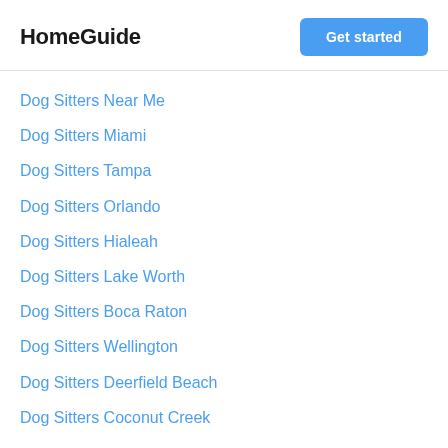HomeGuide
Dog Sitters Near Me
Dog Sitters Miami
Dog Sitters Tampa
Dog Sitters Orlando
Dog Sitters Hialeah
Dog Sitters Lake Worth
Dog Sitters Boca Raton
Dog Sitters Wellington
Dog Sitters Deerfield Beach
Dog Sitters Coconut Creek